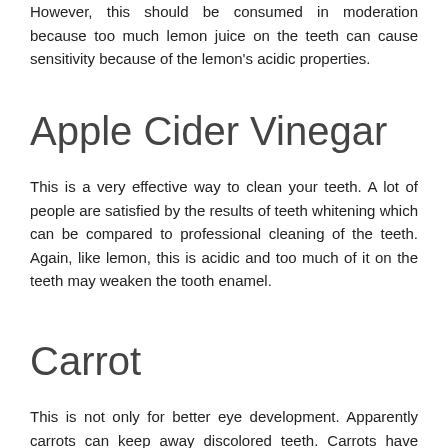However, this should be consumed in moderation because too much lemon juice on the teeth can cause sensitivity because of the lemon's acidic properties.
Apple Cider Vinegar
This is a very effective way to clean your teeth. A lot of people are satisfied by the results of teeth whitening which can be compared to professional cleaning of the teeth. Again, like lemon, this is acidic and too much of it on the teeth may weaken the tooth enamel.
Carrot
This is not only for better eye development. Apparently carrots can keep away discolored teeth. Carrots have fibrous nature which will help clean the surface of the